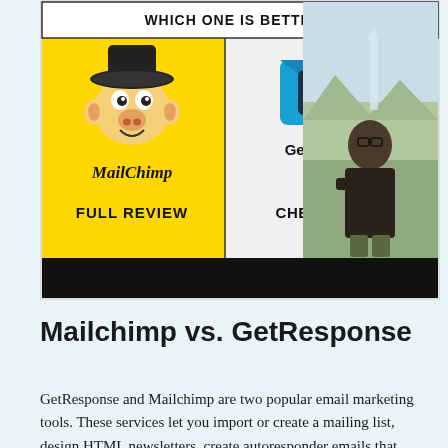[Figure (illustration): A YouTube-style thumbnail showing MailChimp vs GetResponse comparison. Left side is yellow background with MailChimp monkey logo and text 'MailChimp FULL REVIEW'. Right side shows GetResponse logo with YouTube play button icon and text 'CHECK OUT !!!'. At top center: 'WHICH ONE IS BETTER?'. On the right side of the thumbnail is a photo of a young man in a leather jacket with mountains/scenery in the background. Bottom has a black bar.]
Mailchimp vs. GetResponse
GetResponse and Mailchimp are two popular email marketing tools. These services let you import or create a mailing list, design HTML newsletters, create autoresponder emails that